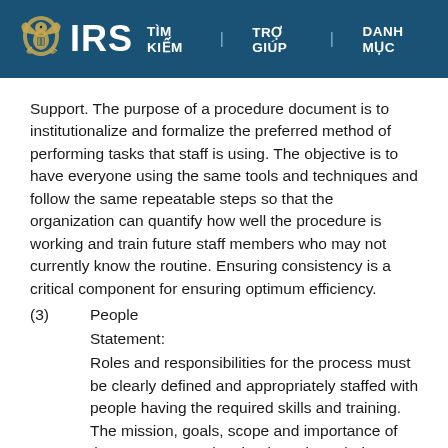IRS | TÌM KIẾM | TRỢ GIÚP | DANH MỤC
Support. The purpose of a procedure document is to institutionalize and formalize the preferred method of performing tasks that staff is using. The objective is to have everyone using the same tools and techniques and follow the same repeatable steps so that the organization can quantify how well the procedure is working and train future staff members who may not currently know the routine. Ensuring consistency is a critical component for ensuring optimum efficiency.
(3) People
Statement:
Roles and responsibilities for the process must be clearly defined and appropriately staffed with people having the required skills and training. The mission, goals, scope and importance of the process must be clearly and regularly communicated by upper management to the staff and business